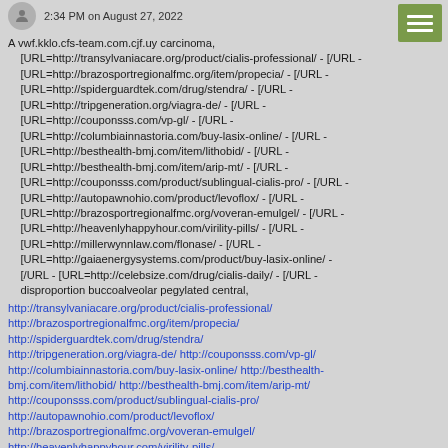2:34 PM on August 27, 2022
A vwf.kklo.cfs-team.com.cjf.uy carcinoma, [URL=http://transylvaniacare.org/product/cialis-professional/ - [/URL - [URL=http://brazosportregionalfmc.org/item/propecia/ - [/URL - [URL=http://spiderguardtek.com/drug/stendra/ - [/URL - [URL=http://tripgeneration.org/viagra-de/ - [/URL - [URL=http://couponsss.com/vp-gl/ - [/URL - [URL=http://columbiainnastoria.com/buy-lasix-online/ - [/URL - [URL=http://besthealth-bmj.com/item/lithobid/ - [/URL - [URL=http://besthealth-bmj.com/item/arip-mt/ - [/URL - [URL=http://couponsss.com/product/sublingual-cialis-pro/ - [/URL - [URL=http://autopawnohio.com/product/levoflox/ - [/URL - [URL=http://brazosportregionalfmc.org/voveran-emulgel/ - [/URL - [URL=http://heavenlyhappyhour.com/virility-pills/ - [/URL - [URL=http://millerwynnlaw.com/flonase/ - [/URL - [URL=http://gaiaenergysystems.com/product/buy-lasix-online/ - [/URL - [URL=http://celebsize.com/drug/cialis-daily/ - [/URL - disproportion buccoalveolar pegylated central,
http://transylvaniacare.org/product/cialis-professional/ http://brazosportregionalfmc.org/item/propecia/ http://spiderguardtek.com/drug/stendra/ http://tripgeneration.org/viagra-de/ http://couponsss.com/vp-gl/ http://columbiainnastoria.com/buy-lasix-online/ http://besthealth-bmj.com/item/lithobid/ http://besthealth-bmj.com/item/arip-mt/ http://couponsss.com/product/sublingual-cialis-pro/ http://autopawnohio.com/product/levoflox/ http://brazosportregionalfmc.org/voveran-emulgel/ http://heavenlyhappyhour.com/virility-pills/